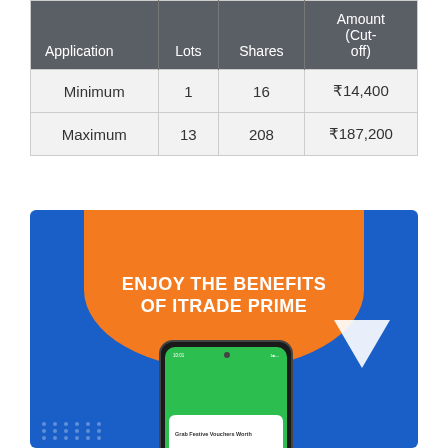| Application | Lots | Shares | Amount (Cut-off) |
| --- | --- | --- | --- |
| Minimum | 1 | 16 | ₹14,400 |
| Maximum | 13 | 208 | ₹187,200 |
[Figure (infographic): Advertisement banner for iTrade Prime with blue background, orange blob shape containing text 'ENJOY THE BENEFITS OF ITRADE PRIME', a smartphone mockup showing a green screen with a notification card saying 'Grab Festive Vouchers Worth', and decorative white triangle and blue dots.]